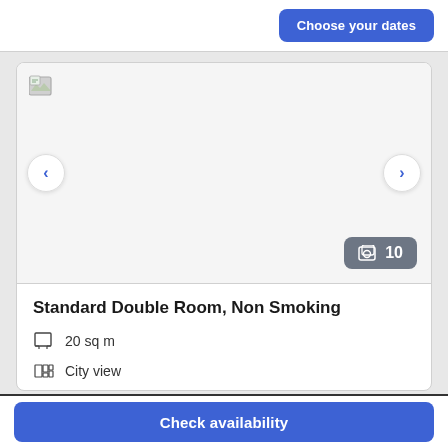Choose your dates
[Figure (screenshot): Hotel room image carousel showing a broken/loading image placeholder with left and right navigation arrows and a photo count badge showing 10 photos]
Standard Double Room, Non Smoking
20 sq m
City view
Sleeps 3
Check availability